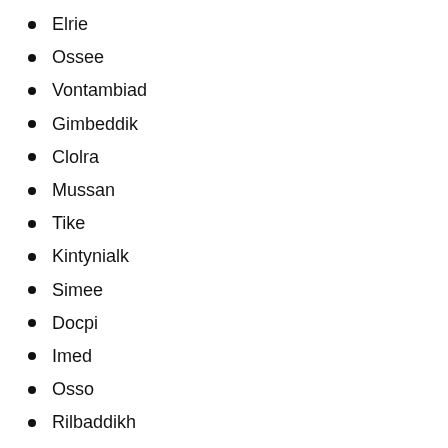Elrie
Ossee
Vontambiad
Gimbeddik
Clolra
Mussan
Tike
Kintynialk
Simee
Docpi
Imed
Osso
Rilbaddikh